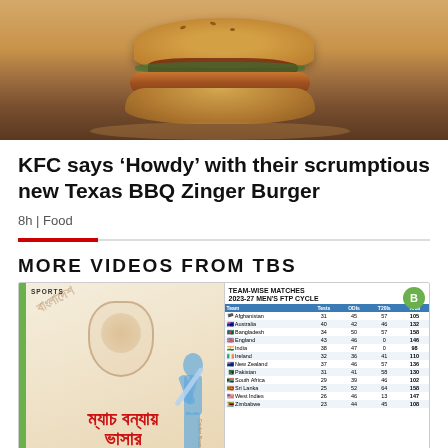[Figure (photo): Photo of a KFC Texas BBQ Zinger Burger with sauce and toppings on a sesame bun]
KFC says ‘Howdy’ with their scrumptious new Texas BBQ Zinger Burger
8h | Food
MORE VIDEOS FROM TBS
[Figure (screenshot): Video thumbnail showing a Bengali sports graphic about cricket matches with Bengali text and team-wise matches 2023-27 Men's FTP Cycle table on the right side]